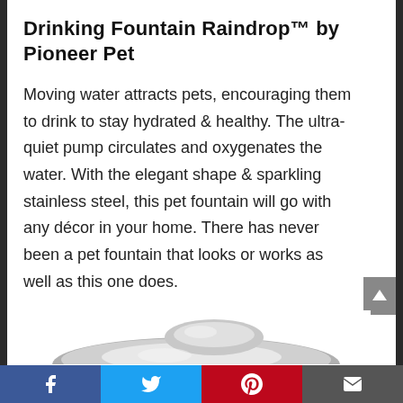Drinking Fountain Raindrop™ by Pioneer Pet
Moving water attracts pets, encouraging them to drink to stay hydrated & healthy. The ultra-quiet pump circulates and oxygenates the water. With the elegant shape & sparkling stainless steel, this pet fountain will go with any décor in your home. There has never been a pet fountain that looks or works as well as this one does.
[Figure (photo): Photo of stainless steel Raindrop pet fountain by Pioneer Pet, showing the curved metallic bowl and fountain top.]
Facebook | Twitter | Pinterest | Email social share buttons